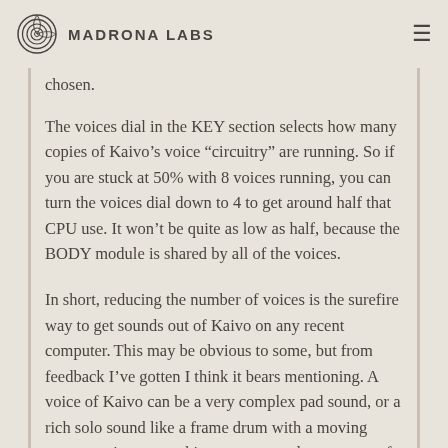Madrona Labs
chosen.
The voices dial in the KEY section selects how many copies of Kaivo’s voice “circuitry” are running. So if you are stuck at 50% with 8 voices running, you can turn the voices dial down to 4 to get around half that CPU use. It won’t be quite as low as half, because the BODY module is shared by all of the voices.
In short, reducing the number of voices is the surefire way to get sounds out of Kaivo on any recent computer. This may be obvious to some, but from feedback I’ve gotten I think it bears mentioning. A voice of Kaivo can be a very complex pad sound, or a rich solo sound like a frame drum with a moving contact point-- something you may only want one of in your